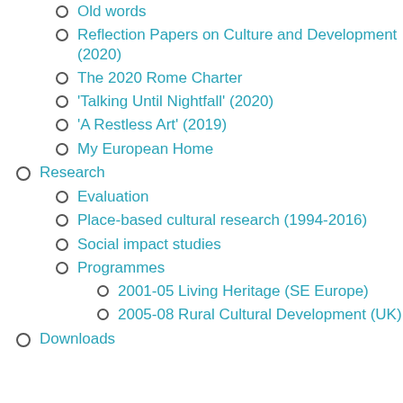Old words
Reflection Papers on Culture and Development (2020)
The 2020 Rome Charter
'Talking Until Nightfall' (2020)
'A Restless Art' (2019)
My European Home
Research
Evaluation
Place-based cultural research (1994-2016)
Social impact studies
Programmes
2001-05 Living Heritage (SE Europe)
2005-08 Rural Cultural Development (UK)
Downloads